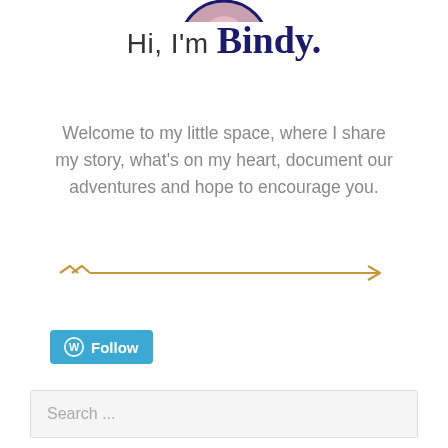Hi, I'm Bindy.
Welcome to my little space, where I share my story, what's on my heart, document our adventures and hope to encourage you.
[Figure (illustration): A decorative golden arrow pointing right, with double chevron marks at the left end.]
[Figure (other): WordPress Follow button — blue rounded rectangle with WordPress logo and 'Follow' text in white.]
Search ...